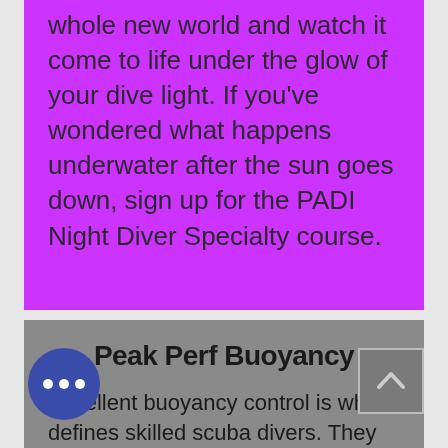whole new world and watch it come to life under the glow of your dive light. If you've wondered what happens underwater after the sun goes down, sign up for the PADI Night Diver Specialty course.
Peak Perf Buoyancy
Excellent buoyancy control is what defines skilled scuba divers. They glide effortlessly, use less air and ascend, descend or hover most as if by thought. They more easily observe aquatic life without disturbing their